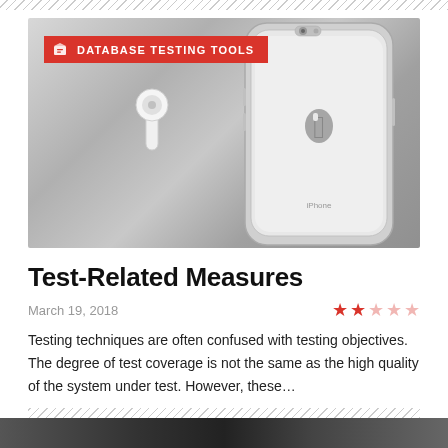[Figure (photo): Photo of an iPhone X and AirPods on a light gray surface, with a red badge overlay reading 'DATABASE TESTING TOOLS']
Test-Related Measures
March 19, 2018
[Figure (other): 2.5 out of 5 star rating in red]
Testing techniques are often confused with testing objectives. The degree of test coverage is not the same as the high quality of the system under test. However, these…